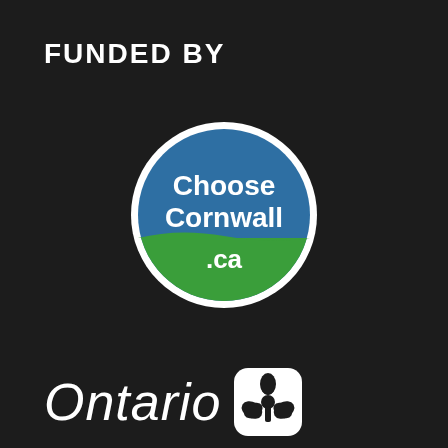FUNDED BY
[Figure (logo): ChooseCornwall.ca circular logo with blue upper half containing white text 'Choose Cornwall' and green lower half with white text '.ca', surrounded by a white border]
[Figure (logo): Ontario government logo with white 'Ontario' italic text and the Ontario trillium symbol in a rounded square badge]